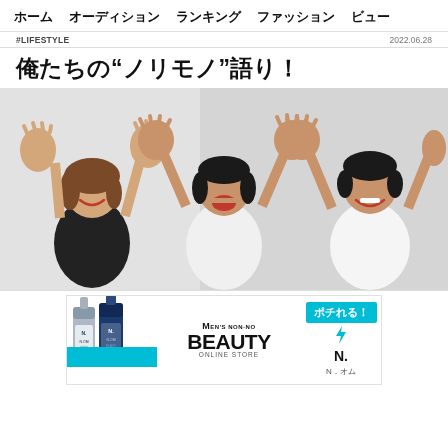ホーム　　オーディション　　ランキング　　ファッション　　ビュー
#LIFESTYLE   2022.06.28
俺たちの"ノリモノ"語り！
[Figure (photo): Three young people posing energetically with hands raised, two men and one woman, against a light gray background]
[Figure (infographic): Advertisement banner for MEN'S NON-NO BEAUTY ONLINE STORE featuring N. brand hair products (two tubes), cyan accent stripe, and a 'ポチれる！' (Can order!) callout button with N. Om brand text]